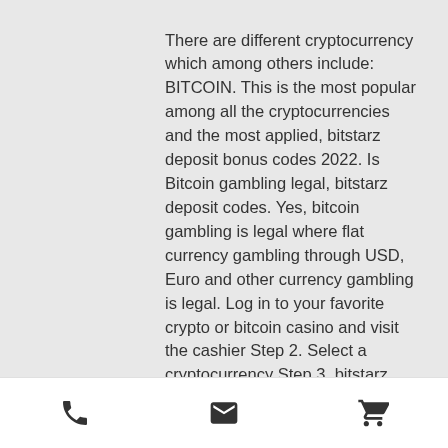There are different cryptocurrency which among others include: BITCOIN. This is the most popular among all the cryptocurrencies and the most applied, bitstarz deposit bonus codes 2022. Is Bitcoin gambling legal, bitstarz deposit codes. Yes, bitcoin gambling is legal where flat currency gambling through USD, Euro and other currency gambling is legal. Log in to your favorite crypto or bitcoin casino and visit the cashier Step 2. Select a cryptocurrency Step 3, bitstarz deposit bitcoin. Super Slots ' If you want a large variety of slot machines from an online casino that offers a safe gaming environment than it's difficult to do better than Super Slots, bitstarz deposit promo code. They feature 100s of fun slot machines and you can deposit using Bitcoin (BTC), Bitcoin Cash (BCH), Litecoin (LTC), Ethereum
[phone icon] [email icon] [cart icon]